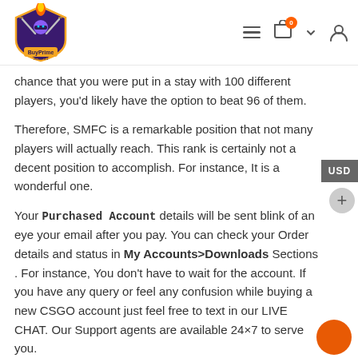BuyPrime Account - navigation header with logo, hamburger menu, cart (0), and user icon
chance that you were put in a stay with 100 different players, you'd likely have the option to beat 96 of them.
Therefore, SMFC is a remarkable position that not many players will actually reach. This rank is certainly not a decent position to accomplish. For instance, It is a wonderful one.
Your Purchased Account details will be sent blink of an eye your email after you pay. You can check your Order details and status in My Accounts>Downloads Sections . For instance, You don't have to wait for the account. If you have any query or feel any confusion while buying a new CSGO account just feel free to text in our LIVE CHAT. Our Support agents are available 24×7 to serve you.
Buy Supreme Master First Class CSGO Account and start playing now and visit our store .